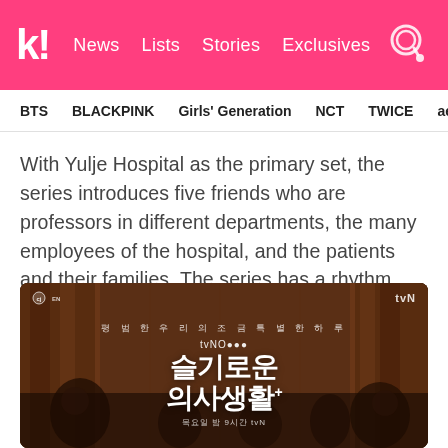k! News Lists Stories Exclusives
BTS BLACKPINK Girls' Generation NCT TWICE aespa
With Yulje Hospital as the primary set, the series introduces five friends who are professors in different departments, the many employees of the hospital, and the patients and their families. The series has a rhythm that allows them to cover several different stories while maintaining a balance to keep viewers interested.
[Figure (photo): Promotional poster for Korean TV drama 슬기로운 의사생활 (Hospital Playlist) featuring the cast and Korean text, with tvN and CJ ENM logos]